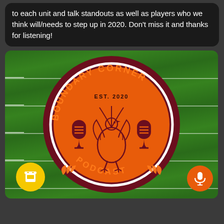to each unit and talk standouts as well as players who we think will/needs to step up in 2020. Don't miss it and thanks for listening!
[Figure (logo): Boundary Corner Podcast logo — circular badge with maroon outer ring showing 'BOUNDARY CORNER' text arched around top and 'PODCAST' arched around bottom in orange collegiate letters, orange inner circle with a turkey illustration flanked by two microphone icons, 'EST. 2020' text at top center. Background is a green football field. Yellow coffee cup button bottom-left, orange microphone button bottom-right.]